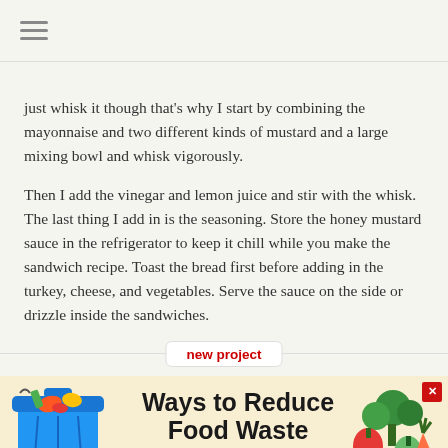☰
just whisk it though that's why I start by combining the mayonnaise and two different kinds of mustard and a large mixing bowl and whisk vigorously.
Then I add the vinegar and lemon juice and stir with the whisk. The last thing I add in is the seasoning. Store the honey mustard sauce in the refrigerator to keep it chill while you make the sandwich recipe. Toast the bread first before adding in the turkey, cheese, and vegetables. Serve the sauce on the side or drizzle inside the sandwiches.
[Figure (infographic): Advertisement banner: 'Ways to Reduce Food Waste' with a blue trash can illustration on the left, vegetables on the right, a 'new project' tooltip at the top center, and a red 'Learn More ▶' button at the bottom.]